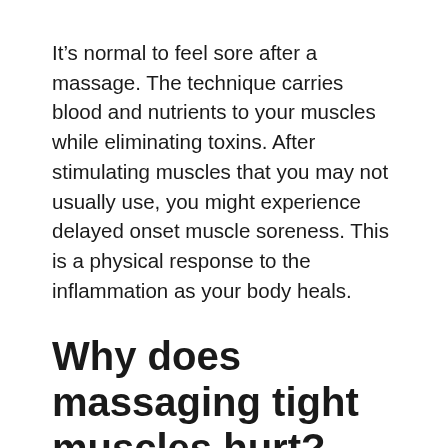It's normal to feel sore after a massage. The technique carries blood and nutrients to your muscles while eliminating toxins. After stimulating muscles that you may not usually use, you might experience delayed onset muscle soreness. This is a physical response to the inflammation as your body heals.
Why does massaging tight muscles hurt?
Massage is like exercise: It forces blood into your muscles, bringing nutrients and removing toxins. This process can temporarily increase inflammation (the